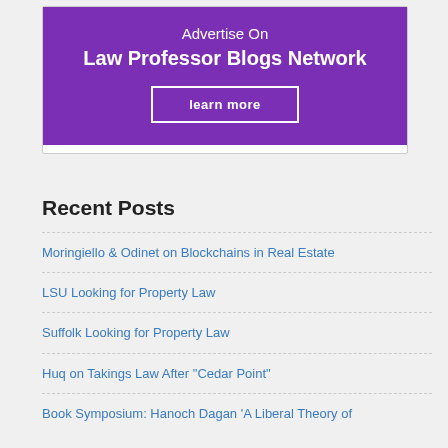[Figure (infographic): Purple advertisement banner for Law Professor Blogs Network with 'Advertise On' text, bold 'Law Professor Blogs Network' heading, and a 'learn more' button with white border.]
Recent Posts
Moringiello & Odinet on Blockchains in Real Estate
LSU Looking for Property Law
Suffolk Looking for Property Law
Huq on Takings Law After "Cedar Point"
Book Symposium: Hanoch Dagan 'A Liberal Theory of